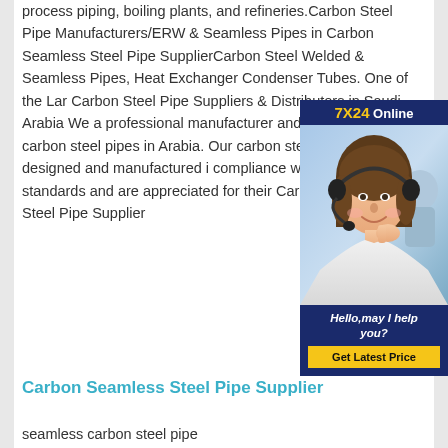process piping, boiling plants, and refineries.Carbon Steel Pipe Manufacturers/ERW & Seamless Pipes in Carbon Seamless Steel Pipe SupplierCarbon Steel Welded & Seamless Pipes, Heat Exchanger Condenser Tubes. One of the Largest Carbon Steel Pipe Suppliers & Distributors in Saudi Arabia We are professional manufacturer and just-in-time supplier for carbon steel pipes in Saudi Arabia. Our carbon steel pipe products are designed and manufactured in compliance with international standards and are appreciated for their Carbon Seamless Steel Pipe Supplier
[Figure (illustration): 7X24 Online chat widget with a customer service representative wearing a headset, smiling. Dark navy blue background with text 'Hello, may I help you?' and a yellow 'Get Latest Price' button.]
Carbon Seamless Steel Pipe Supplier
seamless carbon steel pipe